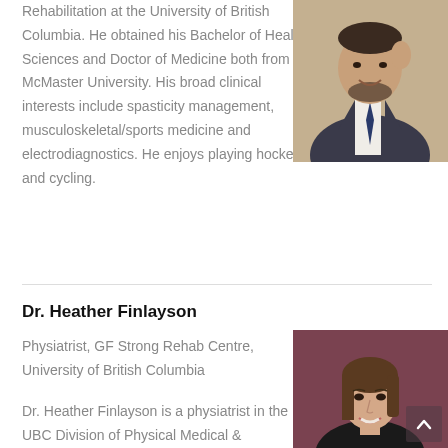Rehabilitation at the University of British Columbia. He obtained his Bachelor of Health Sciences and Doctor of Medicine both from McMaster University. His broad clinical interests include spasticity management, musculoskeletal/sports medicine and electrodiagnostics. He enjoys playing hockey and cycling.
[Figure (photo): Portrait photo of a man in a dark suit and tie, smiling]
Dr. Heather Finlayson
Physiatrist, GF Strong Rehab Centre, University of British Columbia
Dr. Heather Finlayson is a physiatrist in the UBC Division of Physical Medical &
[Figure (photo): Portrait photo of Dr. Heather Finlayson, a woman with brown hair, smiling]